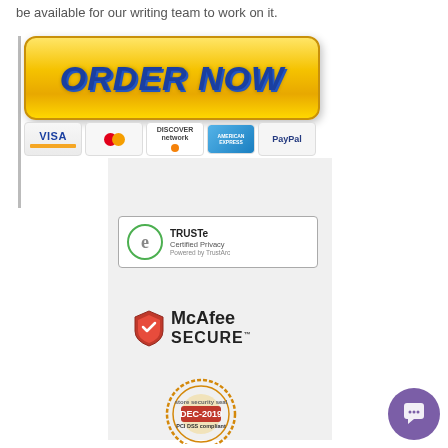be available for our writing team to work on it.
[Figure (screenshot): Yellow ORDER NOW button with payment icons (Visa, Mastercard, Discover, American Express, PayPal) below it, with a vertical grey bar on the left]
[Figure (logo): TRUSTe Certified Privacy Powered by TrustArc badge]
[Figure (logo): McAfee SECURE logo with red shield]
[Figure (logo): PCI DSS compliant DEC-2019 security seal badge]
[Figure (other): Purple circular chat support button in bottom right corner]